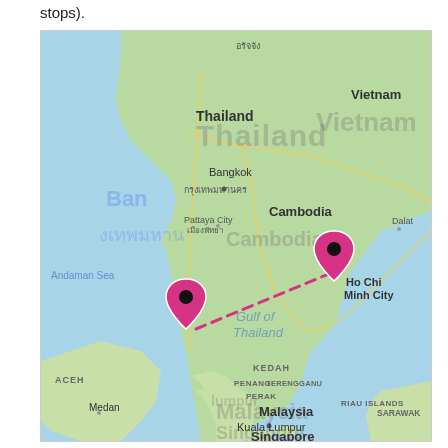stops).
[Figure (map): A Google Maps screenshot showing Southeast Asia including Thailand, Vietnam, Cambodia, Malaysia, and Singapore. Two pink map pins are connected by a dashed pink line across the Gulf of Thailand — one pin located on the Thai peninsula (west side) and one near Ho Chi Minh City (Vietnam). The map shows major cities including Bangkok, Ho Chi Minh City, Kuala Lumpur, and geographic labels such as Andaman Sea, Gulf of Thailand, Pattaya City, Kedah, Penang, Perak, Terengganu, Aceh, Medan, and Riau Islands.]